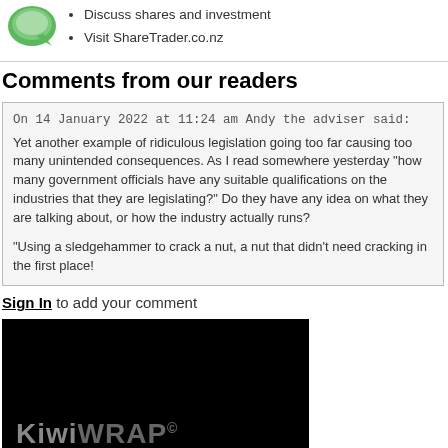[Figure (logo): Green speech bubble logo for ShareTrader]
Discuss shares and investment
Visit ShareTrader.co.nz
Comments from our readers
On 14 January 2022 at 11:24 am Andy the adviser said:
Yet another example of ridiculous legislation going too far causing too many unintended consequences. As I read somewhere yesterday "how many government officials have any suitable qualifications on the industries that they are legislating?" Do they have any idea on what they are talking about, or how the industry actually runs?

"Using a sledgehammer to crack a nut, a nut that didn't need cracking in the first place!
Sign In to add your comment
[Figure (logo): KiwiWRAP advertisement banner with dark background showing KiwiWRAP logo and KiwiSaver Solutions text]